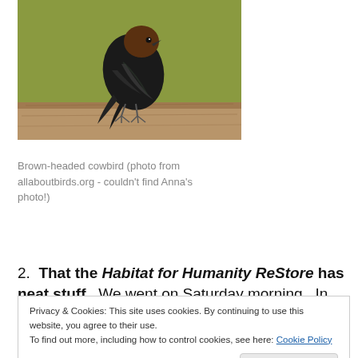[Figure (photo): Close-up photo of a brown-headed cowbird perched on a wooden rail, viewed from behind/side, dark plumage, green background.]
Brown-headed cowbird (photo from allaboutbirds.org - couldn't find Anna's photo!)
2. That the Habitat for Humanity ReStore has neat stuff.  We went on Saturday morning.  In addition to every
Privacy & Cookies: This site uses cookies. By continuing to use this website, you agree to their use.
To find out more, including how to control cookies, see here: Cookie Policy
long for $10 each.  We will string twine between them and